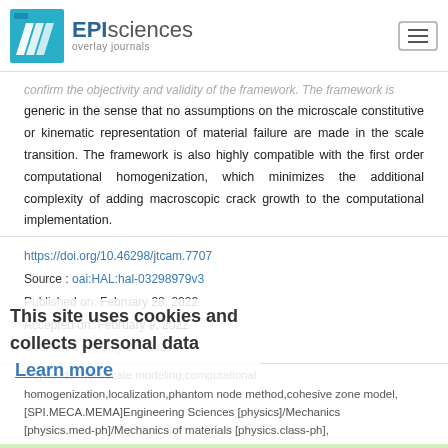EPI sciences overlay journals
confirm the objectivity and validity of the framework. The framework is generic in the sense that no assumptions on the microscale constitutive or kinematic representation of material failure are made in the scale transition. The framework is also highly compatible with the first order computational homogenization, which minimizes the additional complexity of adding macroscopic crack growth to the computational implementation.
https://doi.org/10.46298/jtcam.7707
Source : oai:HAL:hal-03298979v3
Published on: February 28, 2022
Accepted on: February 9, 2022
Submitted on: July 27, 2021
This site uses cookies and collects personal data  Learn more
Keywords: multiscale modeling,computational homogenization,localization,phantom node method,cohesive zone model, [SPI.MECA.MEMA]Engineering Sciences [physics]/Mechanics [physics.med-ph]/Mechanics of materials [physics.class-ph],
[SPI.MECA.GEME]Engineering Sciences [physics]/Mechanics [physics.med-ph]/Mechanical engineering [physics.class-ph]